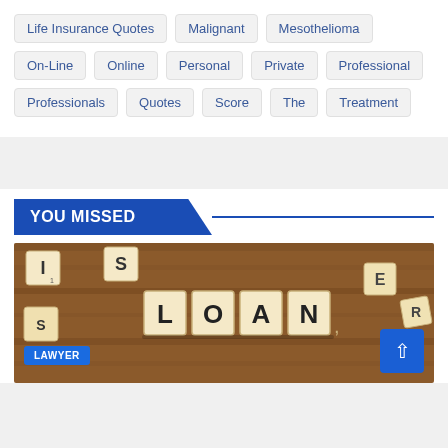Life Insurance Quotes
Malignant
Mesothelioma
On-Line
Online
Personal
Private
Professional
Professionals
Quotes
Score
The
Treatment
YOU MISSED
[Figure (photo): Scrabble tiles spelling LOAN on a wooden surface, with scattered other tiles in the background.]